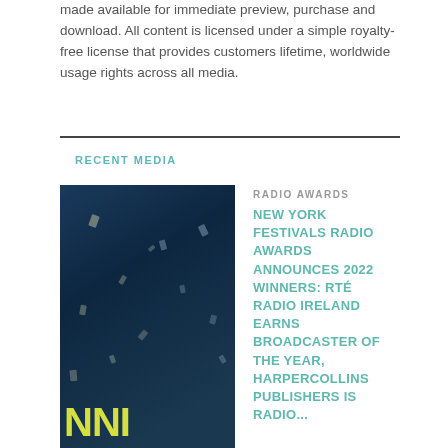made available for immediate preview, purchase and download. All content is licensed under a simple royalty-free license that provides customers lifetime, worldwide usage rights across all media.
RECENT MEDIA
[Figure (photo): Dark blue event backdrop with large yellow letters 'NNI' partially visible at the bottom, with confetti-like particles scattered throughout]
RADIO AWARDS
NEW YORK FESTIVALS RADIO AWARDS ANNOUNCES 2022 WINNERS: RTÉ RADIO IRELAND EARNS BROADCASTER OF THE YEAR, HARPERCOLLINS PUBLISHERS IS RADIO...